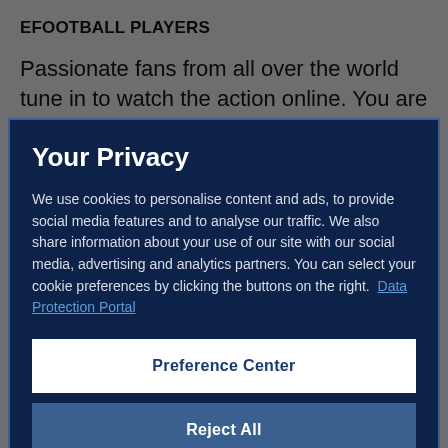EFOOTBALL PLAYERS
Passionate fans from all over the world tune in to watch the action online. You are the stars. We use
Your Privacy
We use cookies to personalise content and ads, to provide social media features and to analyse our traffic. We also share information about your use of our site with our social media, advertising and analytics partners. You can select your cookie preferences by clicking the buttons on the right.  Data Protection Portal
Preference Center
Reject All
I'm OK with that